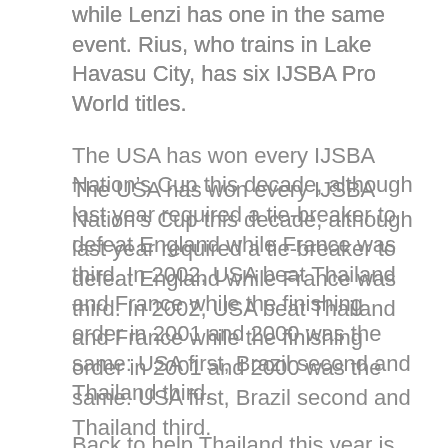while Lenzi has one in the same event. Rius, who trains in Lake Havasu City, has six IJSBA Pro World titles.
The USA has won every IJSBA Nation’s Cup this decade, although last year required a tie-breaker to defeat England while France was third. In 2002, USA beat Thailand and France while the finishing order in 2001 and 2000 was the same: USA first, Brazil second and Thailand third.
Back to help Thailand this year is Chaowalit Kuajaroon, who won the 2000 Pro-Am Sport World title.
Two U.S. racers, Jayme Cheney, W. Fargo, N.D., and Bill Haig, Apex, N.C., have both entered five classes in this year’s event. Cheney, who won the 2002 IJSBA World title in Pro-Am Runabout 800SS on a Sea-Doo, will compete again in that class, but will also